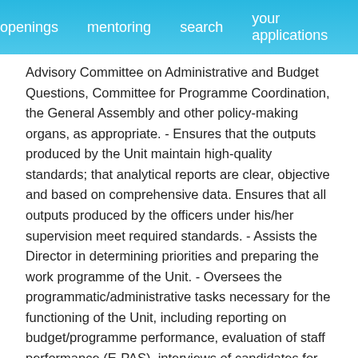openings   mentoring   search   your applications
Advisory Committee on Administrative and Budget Questions, Committee for Programme Coordination, the General Assembly and other policy-making organs, as appropriate. - Ensures that the outputs produced by the Unit maintain high-quality standards; that analytical reports are clear, objective and based on comprehensive data. Ensures that all outputs produced by the officers under his/her supervision meet required standards. - Assists the Director in determining priorities and preparing the work programme of the Unit. - Oversees the programmatic/administrative tasks necessary for the functioning of the Unit, including reporting on budget/programme performance, evaluation of staff performance (E-PAS), interviews of candidates for job openings and their evaluation. - Supports the Director in the recruitment of staff, taking due account of geographical balance. - Manages, guides, trains and mentors staff under